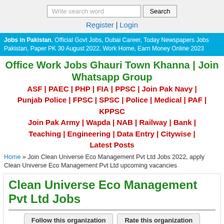Write search word [search box] | Search button | Register | Login
Jobs in Pakistan, Official Govt Jobs, Dubai Career, Today Newspapers Jobs Pakistan, Paper PK 30 August 2022, Work Home, Earn Money Online 2023
Office Work Jobs Ghauri Town Khanna | Join Whatsapp Group
ASF | PAEC | PHP | FIA | PPSC | Join Pak Navy | Punjab Police | FPSC | SPSC | Police | Medical | PAF | KPPSC
Join Pak Army | Wapda | NAB | Railway | Bank | Teaching | Engineering | Data Entry | Citywise | Latest Posts
Home » Join Clean Universe Eco Management Pvt Ltd Jobs 2022, apply Clean Universe Eco Management Pvt Ltd upcoming vacancies
Clean Universe Eco Management Pvt Ltd Jobs
Follow this organization | Rate this organization